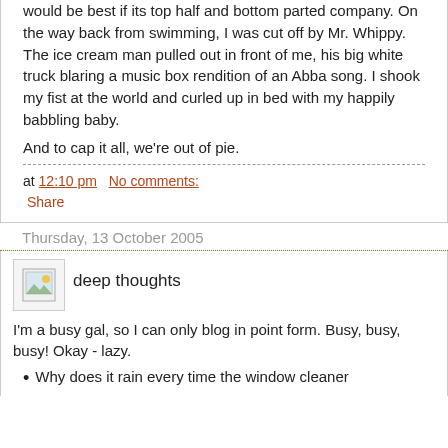would be best if its top half and bottom parted company. On the way back from swimming, I was cut off by Mr. Whippy. The ice cream man pulled out in front of me, his big white truck blaring a music box rendition of an Abba song. I shook my fist at the world and curled up in bed with my happily babbling baby.
And to cap it all, we're out of pie.
at 12:10 pm   No comments:
Share
Thursday, 13 October 2005
[Figure (illustration): Small image icon placeholder]
deep thoughts
I'm a busy gal, so I can only blog in point form. Busy, busy, busy! Okay - lazy.
Why does it rain every time the window cleaner